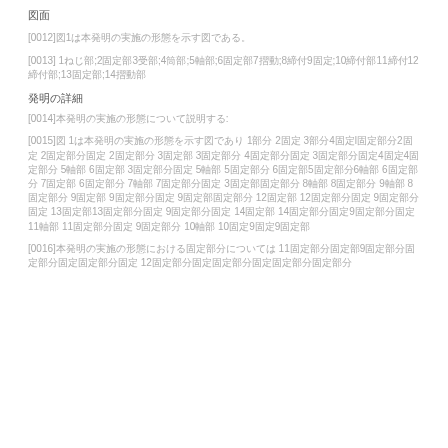図面
[0012]図1は本発明の実施の形態を示す図である。
[0013] 1ねじ部;2固定部3受部;4筒部;5軸部;6固定部7摺動;8締付9固定;10締付部11締付12締付部;13固定部;14摺動部
発明の詳細
[0014]本発明の実施の形態について説明する:
[0015]図 1は本発明の実施の形態を示す図であり 1部分 2固定 3部分4固定l固定部分2固定 2固定部分固定 2固定部分 3固定部 3固定部分 4固定部分固定 3固定部分固定4固定4固定部分 5軸部 6固定部 3固定部分固定 5軸部 5固定部分 6固定部5固定部分6軸部 6固定部分 7固定部 6固定部分 7軸部 7固定部分固定 3固定部固定部分 8軸部 8固定部分 9軸部 8固定部分 9固定部 9固定部分固定 9固定部固定部分 12固定部 12固定部分固定 9固定部分固定 13固定部13固定部分固定 9固定部分固定 14固定部 14固定部分固定9固定部分固定 11軸部 11固定部分固定 9固定部分 10軸部 10固定9固定9固定部
[0016]本発明の実施の形態における固定部分については 11固定部分固定部9固定部分固定部分固定固定部分固定 12固定部分固定固定部分固定固定部分固定部分